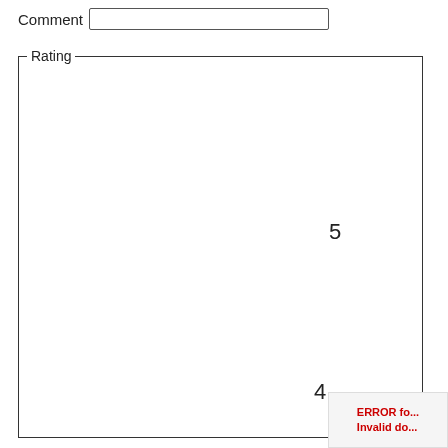Comment
[Figure (other): Form UI showing a Comment text input field and a Rating fieldset/group box containing numbers 5 and 4, with an error overlay in the bottom-right corner reading 'ERROR fo... Invalid do...']